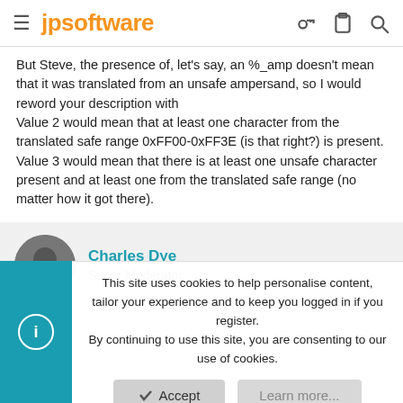jpsoftware
But Steve, the presence of, let's say, an %_amp doesn't mean that it was translated from an unsafe ampersand, so I would reword your description with
Value 2 would mean that at least one character from the translated safe range 0xFF00-0xFF3E (is that right?) is present.
Value 3 would mean that there is at least one unsafe character present and at least one from the translated safe range (no matter how it got there).
Charles Dye
Super Moderator
This site uses cookies to help personalise content, tailor your experience and to keep you logged in if you register.
By continuing to use this site, you are consenting to our use of cookies.